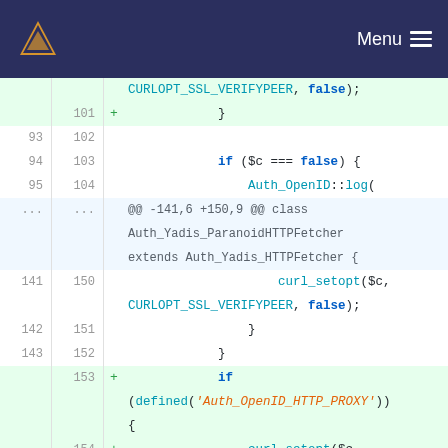[Figure (screenshot): Navigation header with orange V logo on dark blue background and Menu hamburger icon on right]
Code diff view showing PHP code changes. Lines 93-95/102-104 show if ($c === false) { Auth_OpenID::log( context. Hunk header @@ -141,6 +150,9 @@ class Auth_Yadis_ParanoidHTTPFetcher extends Auth_Yadis_HTTPFetcher {. Lines 141-143/150-152 show curl_setopt($c, CURLOPT_SSL_VERIFYPEER, false); } }. Lines 153-155 (added) show if (defined('Auth_OpenID_HTTP_PROXY')) { curl_setopt($c, CURLOPT_PROXY, Auth_OpenID_HTTP_PROXY); }. Line 144/156 context.